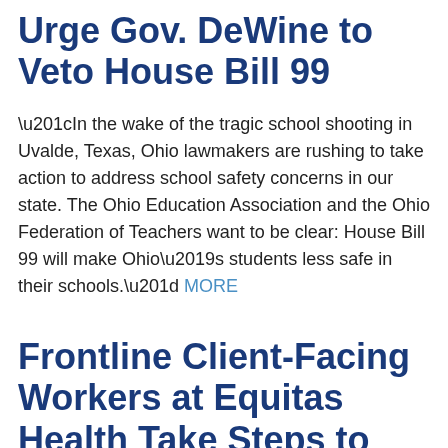Urge Gov. DeWine to Veto House Bill 99
“In the wake of the tragic school shooting in Uvalde, Texas, Ohio lawmakers are rushing to take action to address school safety concerns in our state. The Ohio Education Association and the Ohio Federation of Teachers want to be clear: House Bill 99 will make Ohio’s students less safe in their schools.” MORE
Frontline Client-Facing Workers at Equitas Health Take Steps to Form Union